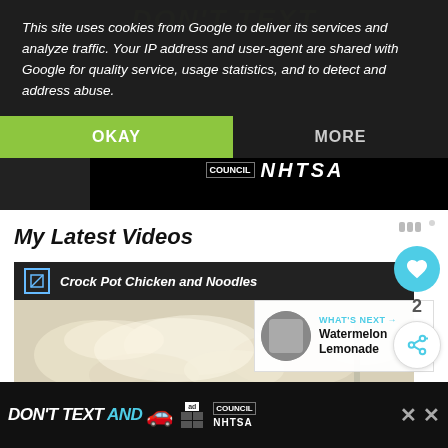This site uses cookies from Google to deliver its services and analyze traffic. Your IP address and user-agent are shared with Google for quality service, usage statistics, and to detect and address abuse.
OKAY
MORE
[Figure (screenshot): Background dark section with NHTSA 'Don't Text and Drive' advertisement banner]
My Latest Videos
Crock Pot Chicken and Noodles
[Figure (photo): Photo of chicken and noodles dish in a bowl, cream colored noodles]
WHAT'S NEXT → Watermelon Lemonade
[Figure (screenshot): Bottom advertisement bar: DON'T TEXT AND DRIVE with NHTSA branding, red car emoji, close button]